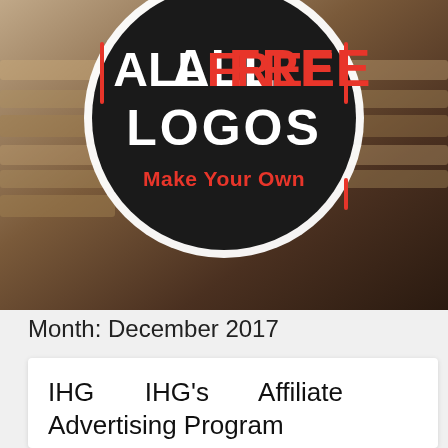[Figure (logo): AllFreeLogos circular black logo with red and white text reading ALL FREE LOGOS Make Your Own, with red accent lines, on a brown/wood photo background]
Month: December 2017
IHG   IHG's   Affiliate Advertising Program